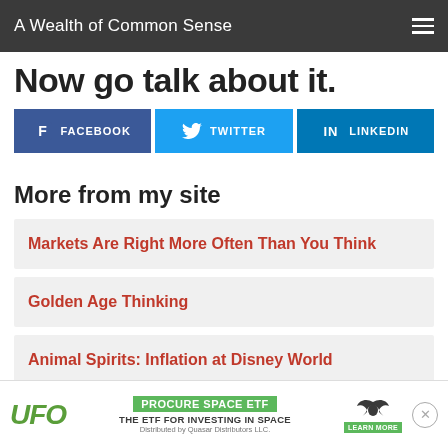A Wealth of Common Sense
Now go talk about it.
FACEBOOK
TWITTER
LINKEDIN
More from my site
Markets Are Right More Often Than You Think
Golden Age Thinking
Animal Spirits: Inflation at Disney World
[Figure (infographic): Advertisement banner for UFO – Procure Space ETF. Green text 'UFO', green label 'PROCURE SPACE ETF', text 'THE ETF FOR INVESTING IN SPACE', 'Distributed by Quasar Distributors LLC.', bat/dragon logo, green 'LEARN MORE' button, close (x) button.]